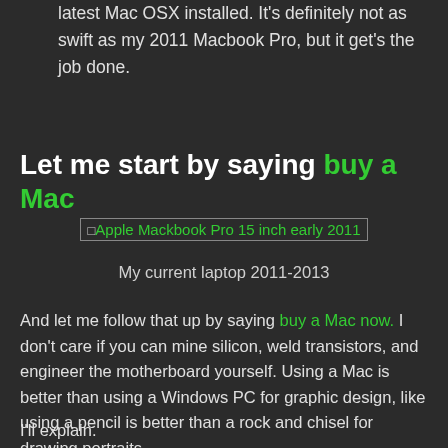latest Mac OSX installed. It's definitely not as swift as my 2011 Macbook Pro, but it get's the job done.
Let me start by saying buy a Mac
[Figure (other): Broken image placeholder for Apple Mackbook Pro 15 inch early 2011]
My current laptop 2011-2013
And let me follow that up by saying buy a Mac now. I don't care if you can mine silicon, weld transistors, and engineer the motherboard yourself. Using a Mac is better than using a Windows PC for graphic design, like using a pencil is better than a rock and chisel for drawing portraits.
I'll explain.